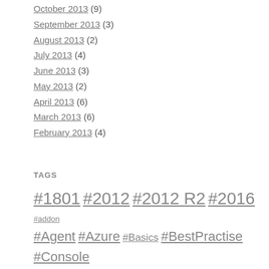October 2013 (9)
September 2013 (3)
August 2013 (2)
July 2013 (4)
June 2013 (3)
May 2013 (2)
April 2013 (6)
March 2013 (6)
February 2013 (4)
TAGS
#1801 #2012 #2012 R2 #2016 #addon #Agent #Azure #Basics #BestPractise #Console #Hardware #Management Pack #Notifications #OMS #OpsMon #R2 #Reporting #SCOM #SCVMM #SQL #System Center #Technical Preview #Tools